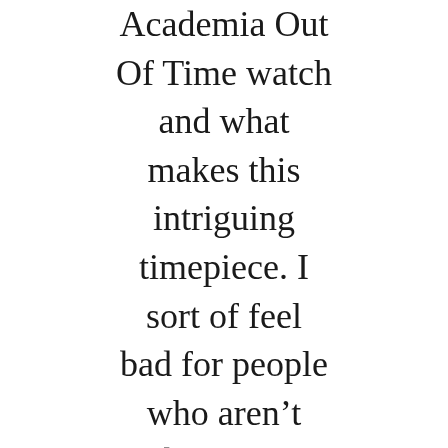Academia Out Of Time watch and what makes this intriguing timepiece. I sort of feel bad for people who aren't able to see this view in person. The main dial has two subdials with the left being a “flying time”